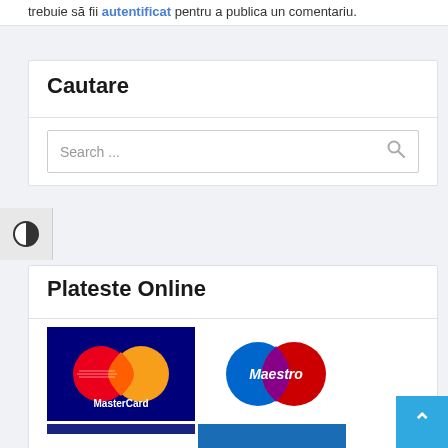trebuie să fii autentificat pentru a publica un comentariu.
Cautare
Search ...
Plateste Online
[Figure (logo): MasterCard, Maestro, VISA, and VISA Electron payment logos arranged in a 2x2 grid]